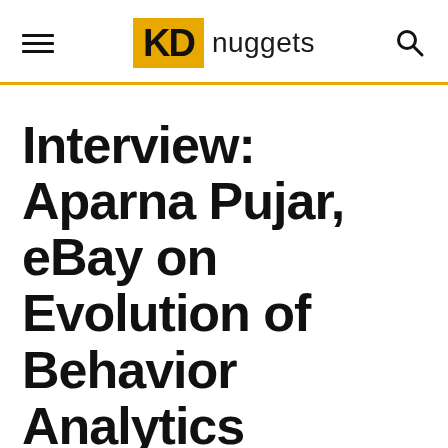KD nuggets
Interview: Aparna Pujar, eBay on Evolution of Behavior Analytics